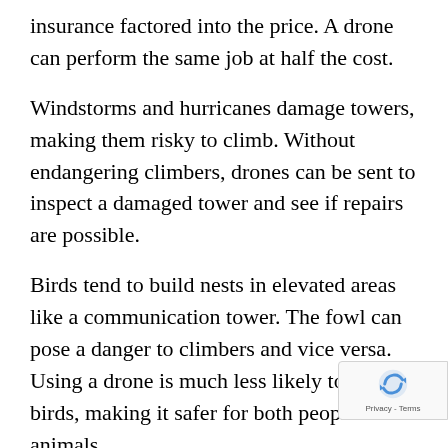insurance factored into the price.  A drone can perform the same job at half the cost.
Windstorms and hurricanes damage towers, making them risky to climb. Without endangering climbers, drones can be sent to inspect a damaged tower and see if repairs are possible.
Birds tend to build nests in elevated areas like a communication tower. The fowl can pose a danger to climbers and vice versa.  Using a drone is much less likely to upset birds, making it safer for both people and animals.
Aside from being a safer alternative to climbing, using drones is also faster. Inspections carried out by drones may take mere hours, while inspections completed by a person may take up to a week o…